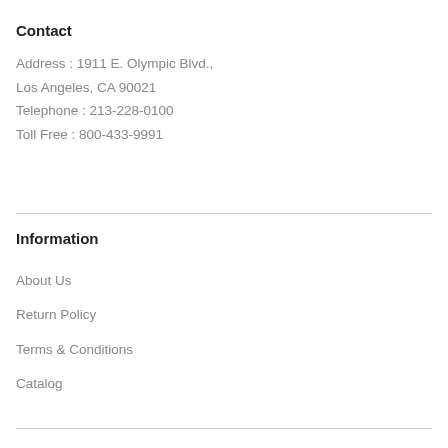Contact
Address : 1911 E. Olympic Blvd.,
Los Angeles, CA 90021
Telephone : 213-228-0100
Toll Free : 800-433-9991
Information
About Us
Return Policy
Terms & Conditions
Catalog